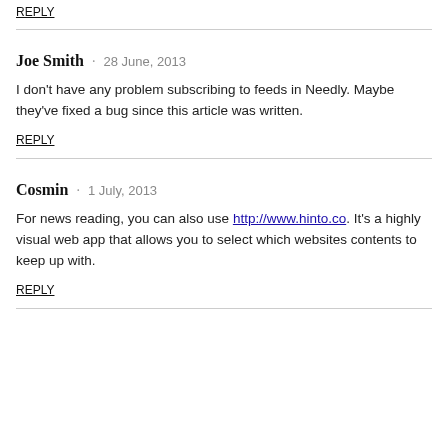REPLY
Joe Smith · 28 June, 2013
I don't have any problem subscribing to feeds in Needly. Maybe they've fixed a bug since this article was written.
REPLY
Cosmin · 1 July, 2013
For news reading, you can also use http://www.hinto.co. It's a highly visual web app that allows you to select which websites contents to keep up with.
REPLY